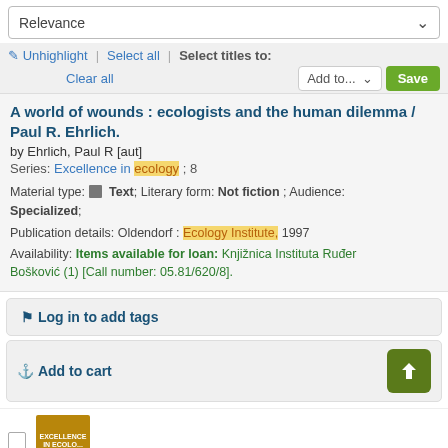Relevance
Unhighlight | Select all | Select titles to: Add to... Save | Clear all
A world of wounds : ecologists and the human dilemma / Paul R. Ehrlich.
by Ehrlich, Paul R [aut]
Series: Excellence in ecology ; 8
Material type: Text; Literary form: Not fiction ; Audience: Specialized;
Publication details: Oldendorf : Ecology Institute, 1997
Availability: Items available for loan: Knjižnica Instituta Ruđer Bošković (1) [Call number: 05.81/620/8].
Log in to add tags
Add to cart